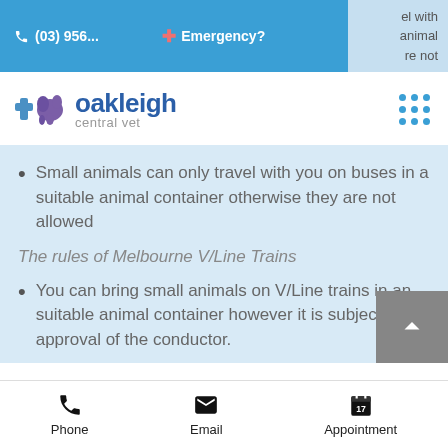(03) 956...   Emergency?   el with animal re not
[Figure (logo): Oakleigh Central Vet logo with dog/plus icon]
Small animals can only travel with you on buses in a suitable animal container otherwise they are not allowed
The rules of Melbourne V/Line Trains
You can bring small animals on V/Line trains in an suitable animal container however it is subject to the approval of the conductor.
Phone   Email   Appointment